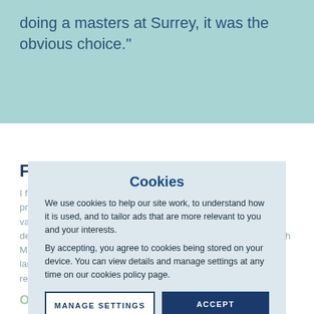doing a masters at Surrey, it was the obvious choice."
Facilities and tutors
I frequently use the Library for research and study, and the practice facilities available in the Performing Arts. I particularly value the interaction with the faculty, to tailor our research and development in your own area, wish our relevant knowledge with Master. For your own areas how any potentially overwhelmingly large subject area to one important, but manageable also to research.
Cookies
We use cookies to help our site work, to understand how it is used, and to tailor ads that are more relevant to you and your interests.

By accepting, you agree to cookies being stored on your device. You can view details and manage settings at any time on our cookies policy page.
Opportunity for collaboration